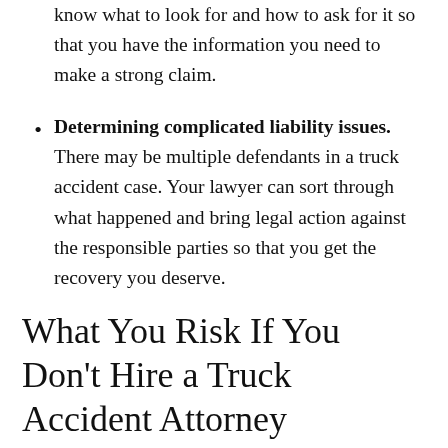know what to look for and how to ask for it so that you have the information you need to make a strong claim.
Determining complicated liability issues. There may be multiple defendants in a truck accident case. Your lawyer can sort through what happened and bring legal action against the responsible parties so that you get the recovery you deserve.
What You Risk If You Don't Hire a Truck Accident Attorney